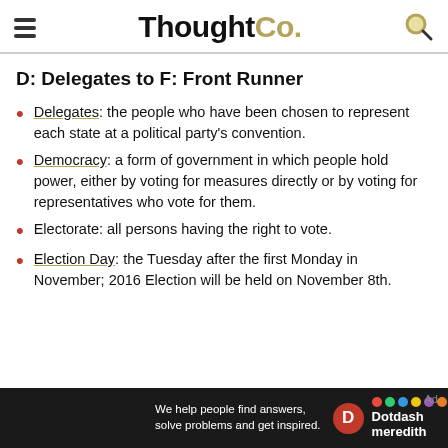ThoughtCo.
D: Delegates to F: Front Runner
Delegates: the people who have been chosen to represent each state at a political party's convention.
Democracy: a form of government in which people hold power, either by voting for measures directly or by voting for representatives who vote for them.
Electorate: all persons having the right to vote.
Election Day: the Tuesday after the first Monday in November; 2016 Election will be held on November 8th.
[Figure (screenshot): Dotdash Meredith advertisement bar at the bottom: 'We help people find answers, solve problems and get inspired.' with D logo and Dotdash meredith branding.]